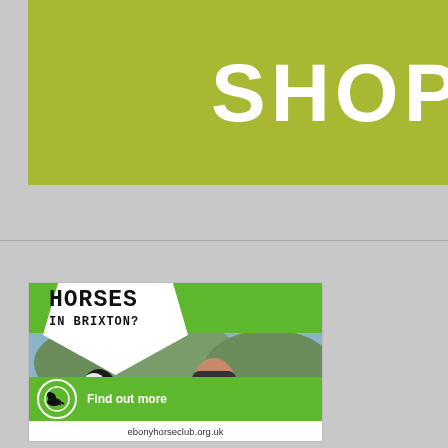[Figure (infographic): Green banner with large white bold text reading SHOP NOW]
[Figure (infographic): Vertical advertisement banner for Ebony Horse Club. Green background with white pentagon shape at top containing text 'HORSES IN BRIXTON?'. Photo of smiling girl with horse in riding helmet. Bottom section has horse jumping logo circle, 'Find out more' text, and website ebonyhorseclub.org.uk in white footer.]